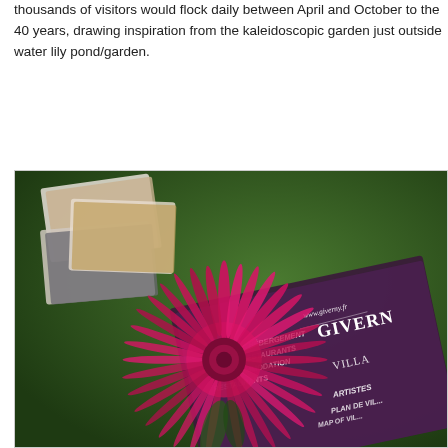thousands of visitors would flock daily between April and October to the... 40 years, drawing inspiration from the kaleidoscopic garden just outside... water lily pond/garden.
[Figure (photo): Close-up photograph of a vibrant pink/magenta spiky dahlia flower in the foreground, with a Giverny village tourism brochure/booklet visible beneath it. The brochure shows text including 'www.giverny.fr', 'GIVERNY VILLAGE', 'HÉBERGEMENT', 'RESTAURANTS', 'ACCOMMODATION', 'RESTAURANTS', 'ARTISTES', 'PLAN DE VIL...' and 'MAP OF VIL...'. In the background are blurred postcards or photos of various scenes.]